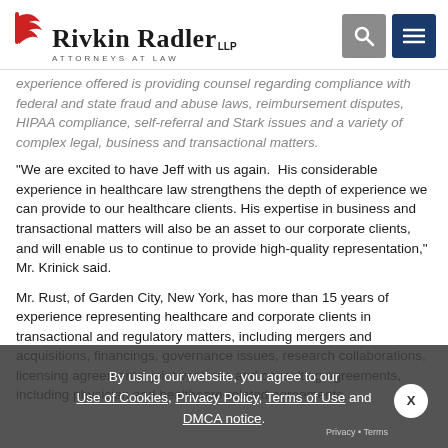Rivkin Radler LLP — Attorneys at Law
experience offered is providing counsel regarding compliance with federal and state fraud and abuse laws, reimbursement disputes, HIPAA compliance, self-referral and Stark issues and a variety of complex legal, business and transactional matters.
“We are excited to have Jeff with us again.  His considerable experience in healthcare law strengthens the depth of experience we can provide to our healthcare clients. His expertise in business and transactional matters will also be an asset to our corporate clients, and will enable us to continue to provide high-quality representation,” Mr. Krinick said.
Mr. Rust, of Garden City, New York, has more than 15 years of experience representing healthcare and corporate clients in transactional and regulatory matters, including mergers and acquisitions, financings, governance issues, research collaborations, licensing agreements, joint ventures and consulting agreements, including physician and healthcare-related agreements.
By using our website, you agree to our Use of Cookies, Privacy Policy, Terms of Use and DMCA notice.